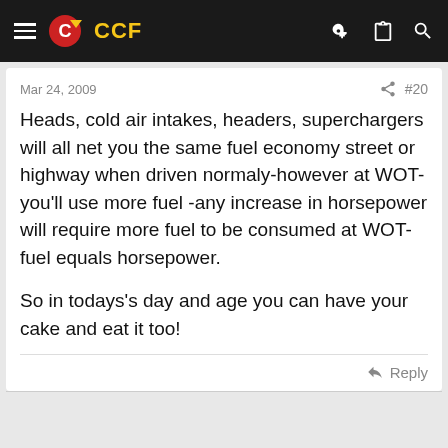CCF
Mar 24, 2009   #20
Heads, cold air intakes, headers, superchargers will all net you the same fuel economy street or highway when driven normaly-however at WOT-you'll use more fuel -any increase in horsepower will require more fuel to be consumed at WOT-fuel equals horsepower.

So in todays's day and age you can have your cake and eat it too!